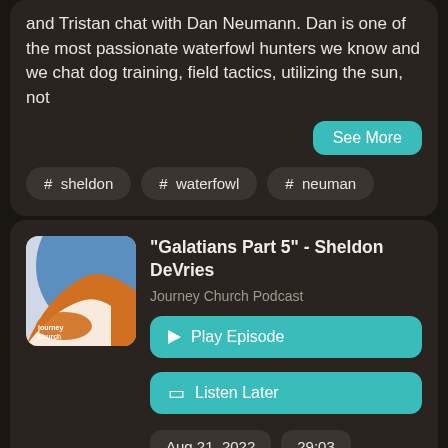and Tristan chat with Dan Neumann. Dan is one of the most passionate waterfowl hunters we know and we chat dog training, field tactics, utilizing the sun, not
See More
# sheldon
# waterfowl
# neuman
"Galatians Part 5" - Sheldon DeVries
Journey Church Podcast
▶ Play Episode
🔖 Listen Later
Aug 21, 2022
29:03